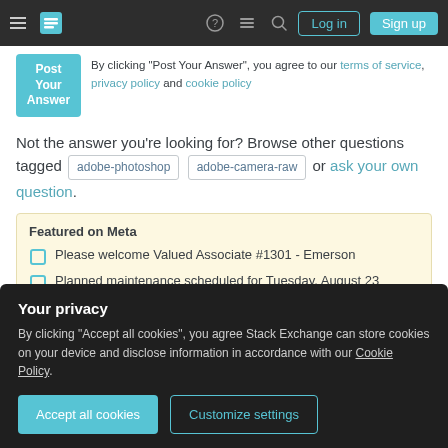Stack Exchange navigation bar with Log in and Sign up buttons
By clicking "Post Your Answer", you agree to our terms of service, privacy policy and cookie policy
Not the answer you're looking for? Browse other questions tagged adobe-photoshop adobe-camera-raw or ask your own question.
Featured on Meta
Please welcome Valued Associate #1301 - Emerson
Planned maintenance scheduled for Tuesday, August 23
Your privacy
By clicking "Accept all cookies", you agree Stack Exchange can store cookies on your device and disclose information in accordance with our Cookie Policy.
Accept all cookies | Customize settings